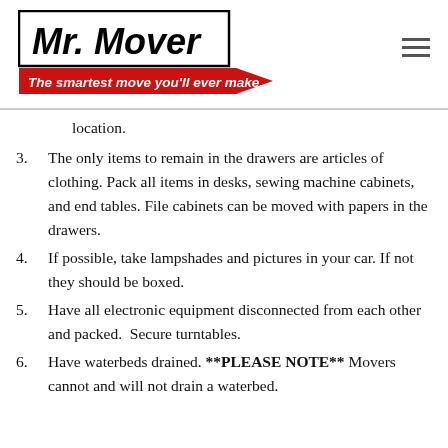Mr. Mover – The smartest move you'll ever make...
location.
3. The only items to remain in the drawers are articles of clothing. Pack all items in desks, sewing machine cabinets, and end tables. File cabinets can be moved with papers in the drawers.
4. If possible, take lampshades and pictures in your car. If not they should be boxed.
5. Have all electronic equipment disconnected from each other and packed.  Secure turntables.
6. Have waterbeds drained. **PLEASE NOTE** Movers cannot and will not drain a waterbed.